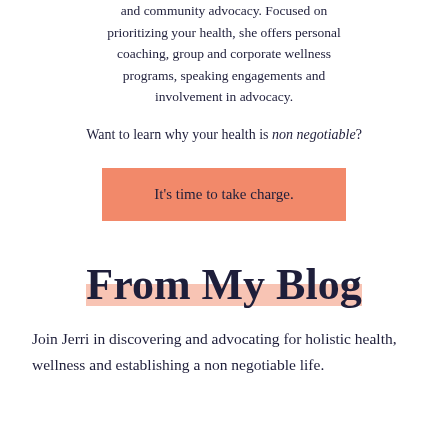and community advocacy. Focused on prioritizing your health, she offers personal coaching, group and corporate wellness programs, speaking engagements and involvement in advocacy.
Want to learn why your health is non negotiable?
It's time to take charge.
From My Blog
Join Jerri in discovering and advocating for holistic health, wellness and establishing a non negotiable life.